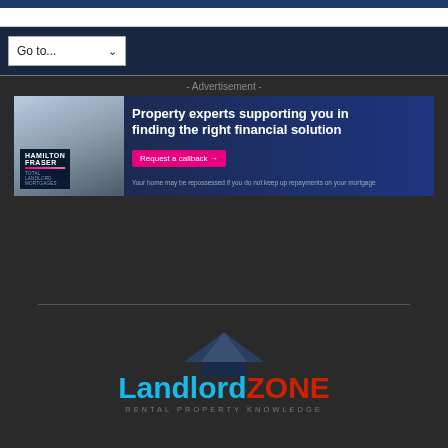Go to...
- Advertisement -
[Figure (illustration): Hamilton Fraser Total Landlord Mortgages advertisement banner. Shows a dark navy blue background with property photo on left. Text reads: Property experts supporting you in finding the right financial solution. Pink CTA button: Request a callback →. Disclaimer: Your home may be repossessed if you do not keep up repayments on your mortgage.]
[Figure (logo): LandlordZONE logo with dark blue roof/house icon above. 'Landlord' in cyan/blue and 'ZONE' in red. Tagline below: RENTAL PROPERTY KNOWLEDGE]